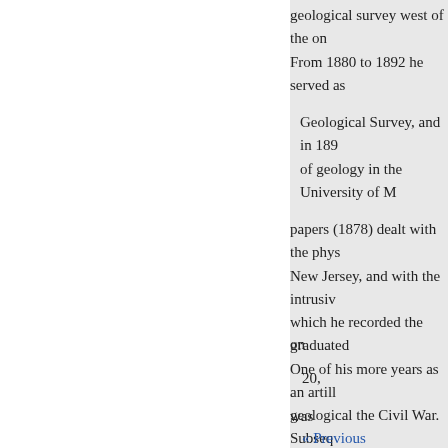geological survey west of the one From 1880 to 1892 he served as
Geological Survey, and in 189 of geology in the University of M
papers (1878) dealt with the phys New Jersey, and with the intrusiv which he recorded the graduated One of his more years as an artill geological the Civil War. Subseq of natural science, to which he ha Lawrence Scientific School in Ca degree of Sc.D. in 1865, and bec in zoology and geology in that sc
on
20,
was
« Previous